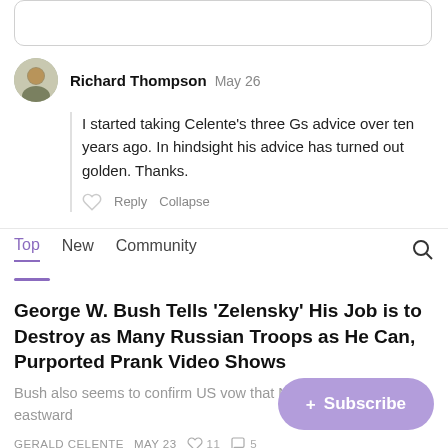Richard Thompson  May 26
I started taking Celente's three Gs advice over ten years ago. In hindsight his advice has turned out golden. Thanks.
Reply  Collapse
Top  New  Community
George W. Bush Tells 'Zelensky' His Job is to Destroy as Many Russian Troops as He Can, Purported Prank Video Shows
Bush also seems to confirm US vow that NATO would not move eastward
GERALD CELENTE  MAY 23  11  5